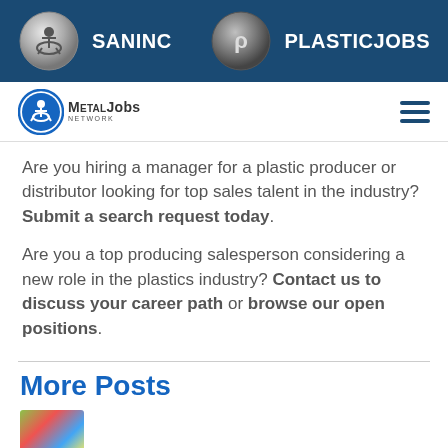SANINC | PLASTICJOBS
[Figure (logo): MetalJobs Network logo with navigation hamburger menu]
Are you hiring a manager for a plastic producer or distributor looking for top sales talent in the industry? Submit a search request today.
Are you a top producing salesperson considering a new role in the plastics industry? Contact us to discuss your career path or browse our open positions.
More Posts